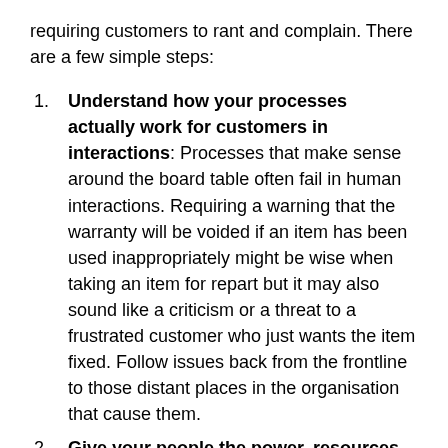requiring customers to rant and complain. There are a few simple steps:
Understand how your processes actually work for customers in interactions: Processes that make sense around the board table often fail in human interactions. Requiring a warning that the warranty will be voided if an item has been used inappropriately might be wise when taking an item for repart but it may also sound like a criticism or a threat to a frustrated customer who just wants the item fixed. Follow issues back from the frontline to those distant places in the organisation that cause them.
Give your people the power, resources and support required to do their jobs: You measure their performance. Do you spend as much time measuring how well you support their